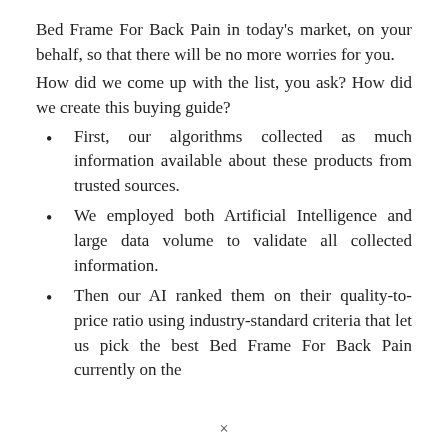Bed Frame For Back Pain in today's market, on your behalf, so that there will be no more worries for you.
How did we come up with the list, you ask? How did we create this buying guide?
First, our algorithms collected as much information available about these products from trusted sources.
We employed both Artificial Intelligence and large data volume to validate all collected information.
Then our AI ranked them on their quality-to-price ratio using industry-standard criteria that let us pick the best Bed Frame For Back Pain currently on the
×